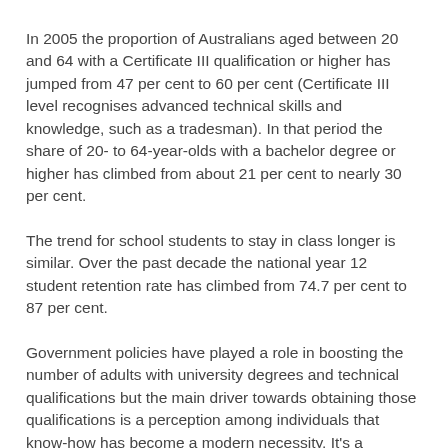In 2005 the proportion of Australians aged between 20 and 64 with a Certificate III qualification or higher has jumped from 47 per cent to 60 per cent (Certificate III level recognises advanced technical skills and knowledge, such as a tradesman). In that period the share of 20- to 64-year-olds with a bachelor degree or higher has climbed from about 21 per cent to nearly 30 per cent.
The trend for school students to stay in class longer is similar. Over the past decade the national year 12 student retention rate has climbed from 74.7 per cent to 87 per cent.
Government policies have played a role in boosting the number of adults with university degrees and technical qualifications but the main driver towards obtaining those qualifications is a perception among individuals that know-how has become a modern necessity. It's a reflection of a momentous economic shift towards knowledge-based employment. Those with higher qualifications are more likely to be employed, to earn more when they are employed, to increase the productivity of their co-workers, to increase